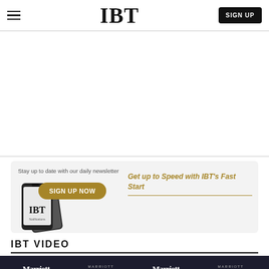IBT
[Figure (screenshot): IBT website screenshot showing a white content area with advertisement space]
[Figure (infographic): Newsletter signup banner with phone image, 'Stay up to date with our daily newsletter', 'SIGN UP NOW' button, and 'Get up to Speed with IBT's Fast Start' text in gold]
IBT VIDEO
[Figure (screenshot): Video strip showing Marriott International and Marriott Bonvoy logos on dark background]